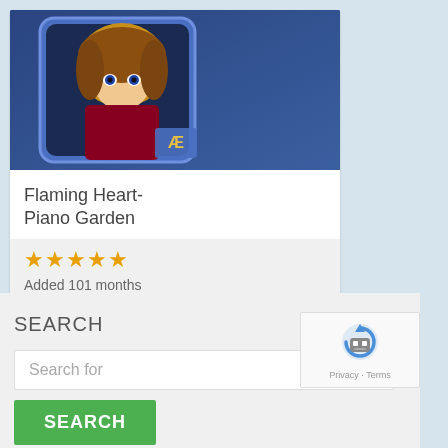[Figure (screenshot): App icon for Flaming Heart-Piano Garden, anime-style girl with blonde hair on blue background with AF logo]
Flaming Heart-Piano Garden
★★★★★
Added 101 months ago by am
Views: 23750
Category: Music
SEARCH
Search for
[Figure (other): reCAPTCHA widget with robot icon, Privacy and Terms links]
SEARCH